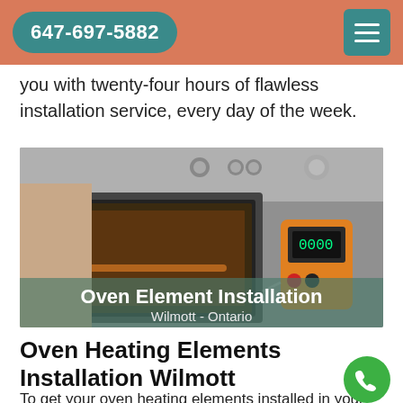647-697-5882
you with twenty-four hours of flawless installation service, every day of the week.
[Figure (photo): A technician using a multimeter/diagnostic tool near an oven element, with overlay text reading 'Oven Element Installation' and 'Wilmott - Ontario']
Oven Heating Elements Installation Wilmott
To get your oven heating elements installed in your